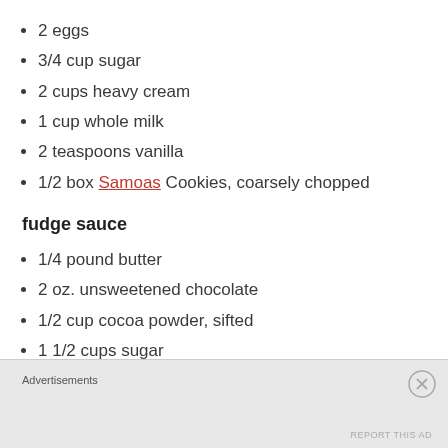2 eggs
3/4 cup sugar
2 cups heavy cream
1 cup whole milk
2 teaspoons vanilla
1/2 box Samoas Cookies, coarsely chopped
fudge sauce
1/4 pound butter
2 oz. unsweetened chocolate
1/2 cup cocoa powder, sifted
1 1/2 cups sugar
1 cup evaporated milk
Advertisements